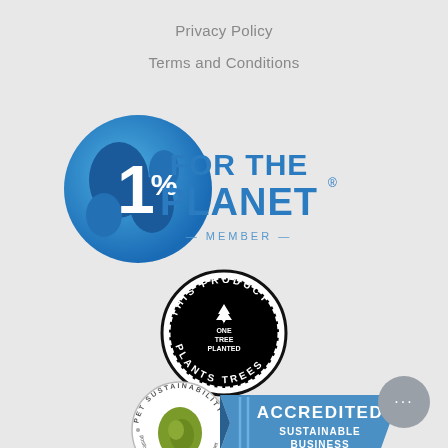Privacy Policy
Terms and Conditions
[Figure (logo): 1% for the Planet member logo — blue globe with '1%' in white, text 'FOR THE PLANET' in bold blue, '— MEMBER —' below]
[Figure (logo): One Tree Planted badge — circular black badge with text 'THIS PRODUCT PLANTS TREES' and 'ONE TREE PLANTED' with tree icon in center]
[Figure (logo): Pet Sustainability Coalition — circular badge with globe and text 'PET SUSTAINABILITY' and 'positive impact, people + planet'; blue banner 'ACCREDITED SUSTAINABLE BUSINESS']